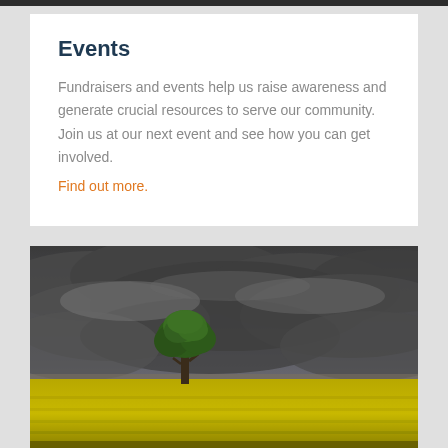Events
Fundraisers and events help us raise awareness and generate crucial resources to serve our community. Join us at our next event and see how you can get involved. Find out more.
[Figure (photo): A lone green tree standing in a yellow flower field under dramatic dark stormy clouds]